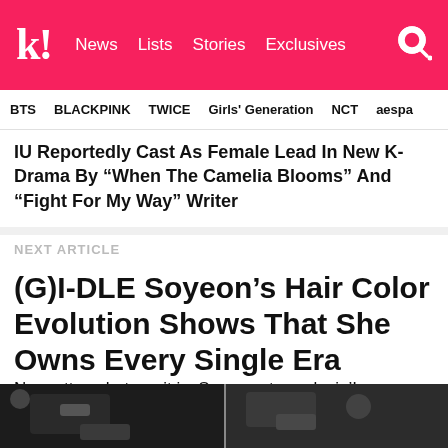k! News  Lists  Stories  Exclusives
BTS  BLACKPINK  TWICE  Girls' Generation  NCT  aespa
IU Reportedly Cast As Female Lead In New K-Drama By "When The Camelia Blooms" And "Fight For My Way" Writer
NEXT ARTICLE
(G)I-DLE Soyeon's Hair Color Evolution Shows That She Owns Every Single Era
No matter what era it is, Soyeon stays slayin'!
[Figure (photo): Two side-by-side photos at bottom of page, partially cropped, showing close-up images related to the article]